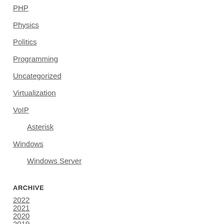PHP
Physics
Politics
Programming
Uncategorized
Virtualization
VoIP
Asterisk
Windows
Windows Server
ARCHIVE
2022
2021
2020
2019